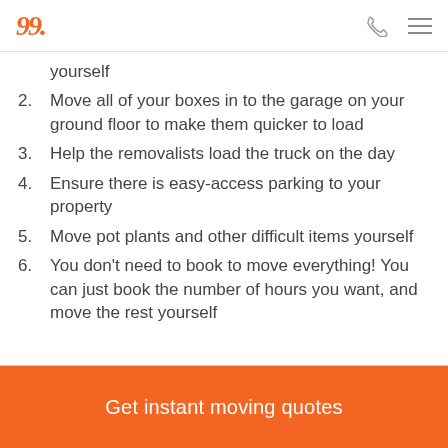logo and navigation icons
yourself
2. Move all of your boxes in to the garage on your ground floor to make them quicker to load
3. Help the removalists load the truck on the day
4. Ensure there is easy-access parking to your property
5. Move pot plants and other difficult items yourself
6. You don't need to book to move everything! You can just book the number of hours you want, and move the rest yourself
Get instant moving quotes